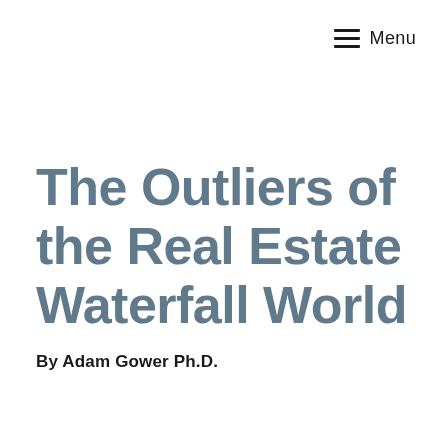Menu
The Outliers of the Real Estate Waterfall World
By Adam Gower Ph.D.